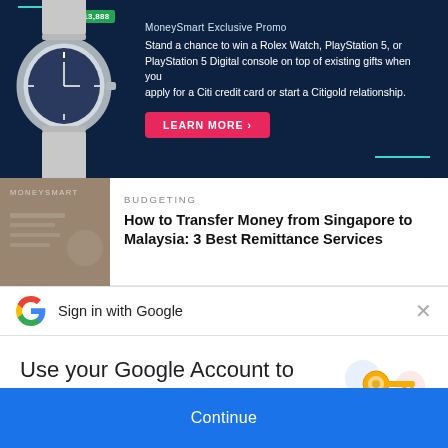[Figure (infographic): MoneySmart advertisement banner with dark navy background, showing a Rolex watch on the left and promotional text for Citibank credit card offer on the right with a red Learn More button]
[Figure (photo): Article thumbnail image with MoneySmart watermark, brownish/tan background]
BUDGETING
How to Transfer Money from Singapore to Malaysia: 3 Best Remittance Services
[Figure (logo): Google G logo multicolor]
Sign in with Google
Use your Google Account to sign in to MoneySmart
No more passwords to remember. Signing in is fast, simple and secure.
[Figure (illustration): Google account key illustration with colorful circles and a golden key]
Continue